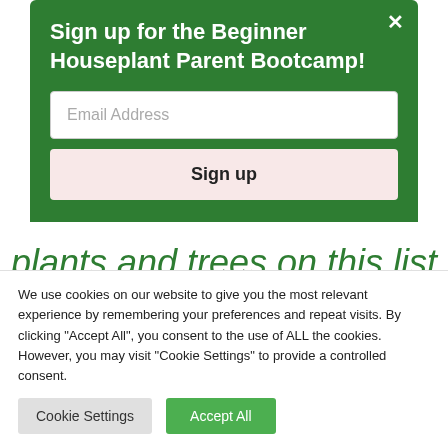Sign up for the Beginner Houseplant Parent Bootcamp!
Email Address
Sign up
plants and trees on this list and see if you have the right spot for one or two of them.
We use cookies on our website to give you the most relevant experience by remembering your preferences and repeat visits. By clicking "Accept All", you consent to the use of ALL the cookies. However, you may visit "Cookie Settings" to provide a controlled consent.
Cookie Settings
Accept All